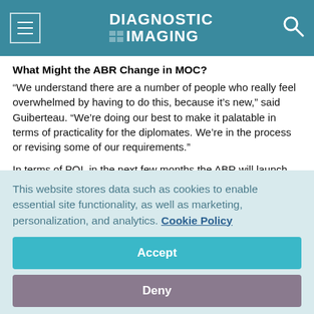DIAGNOSTIC IMAGING
What Might the ABR Change in MOC?
“We understand there are a number of people who really feel overwhelmed by having to do this, because it’s new,” said Guiberteau. “We’re doing our best to make it palatable in terms of practicality for the diplomates. We’re in the process or revising some of our requirements.”
In terms of PQI, in the next few months the ABR will launch an
This website stores data such as cookies to enable essential site functionality, as well as marketing, personalization, and analytics. Cookie Policy
Accept
Deny